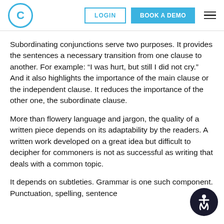C | LOGIN | BOOK A DEMO
Subordinating conjunctions serve two purposes. It provides the sentences a necessary transition from one clause to another. For example: “I was hurt, but still I did not cry.” And it also highlights the importance of the main clause or the independent clause. It reduces the importance of the other one, the subordinate clause.
More than flowery language and jargon, the quality of a written piece depends on its adaptability by the readers. A written work developed on a great idea but difficult to decipher for commoners is not as successful as writing that deals with a common topic.
It depends on subtleties. Grammar is one such component. Punctuation, spelling, sentence